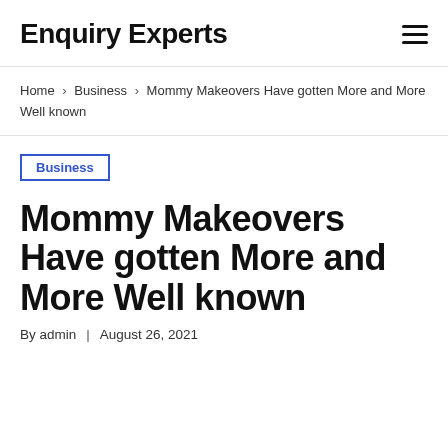Enquiry Experts
Home › Business › Mommy Makeovers Have gotten More and More Well known
Business
Mommy Makeovers Have gotten More and More Well known
By admin | August 26, 2021